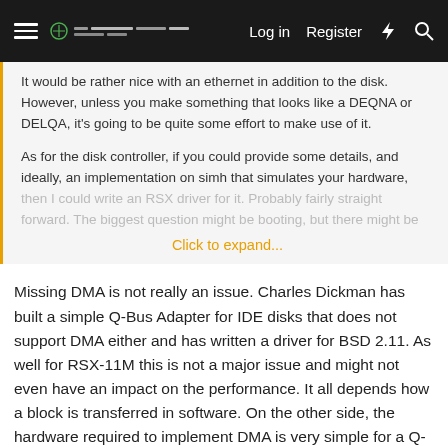Log in  Register
It would be rather nice with an ethernet in addition to the disk. However, unless you make something that looks like a DEQNA or DELQA, it's going to be quite some effort to make use of it.

As for the disk controller, if you could provide some details, and ideally, an implementation on simh that simulates your hardware, then I could write an RSX driver for it. Probably fairly straight forward. The biggest question might be booting, but there might be

Click to expand...
Missing DMA is not really an issue. Charles Dickman has built a simple Q-Bus Adapter for IDE disks that does not support DMA either and has written a driver for BSD 2.11. As well for RSX-11M this is not a major issue and might not even have an impact on the performance. It all depends how a block is transferred in software. On the other side, the hardware required to implement DMA is very simple for a Q-Bus Adapter, if you are using a large FPGA this only requires additional registers and drivers. My RLV12 only requires a